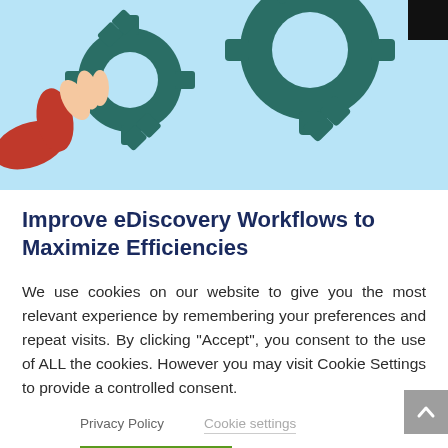[Figure (illustration): Illustration of hands holding interlocking gear cogs on a light blue background, with a black corner at top-right.]
Improve eDiscovery Workflows to Maximize Efficiencies
Aug 21, 2020
We use cookies on our website to give you the most relevant experience by remembering your preferences and repeat visits. By clicking “Accept”, you consent to the use of ALL the cookies. However you may visit Cookie Settings to provide a controlled consent.
Privacy Policy
Cookie settings
ACCEPT